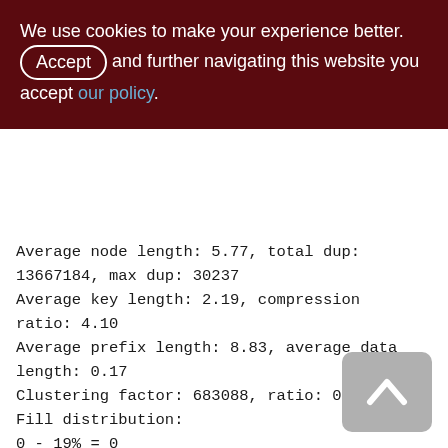We use cookies to make your experience better. By Accepting and further navigating this website you accept our policy.
Average node length: 5.77, total dup: 13667184, max dup: 30237
Average key length: 2.19, compression ratio: 4.10
Average prefix length: 8.83, average data length: 0.17
Clustering factor: 683088, ratio: 0.05
Fill distribution:
0 - 19% = 0
20 - 39% = 0
40 - 59% = 14510
60 - 79% = 1897
80 - 99% = 1419